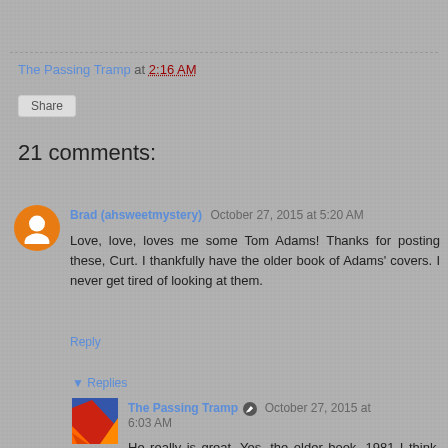The Passing Tramp at 2:16 AM
Share
21 comments:
Brad (ahsweetmystery) October 27, 2015 at 5:20 AM
Love, love, loves me some Tom Adams! Thanks for posting these, Curt. I thankfully have the older book of Adams' covers. I never get tired of looking at them.
Reply
Replies
The Passing Tramp October 27, 2015 at 6:03 AM
He really is great. Yes, the older book, 1981 I think, also has commentary from Julian Symons,